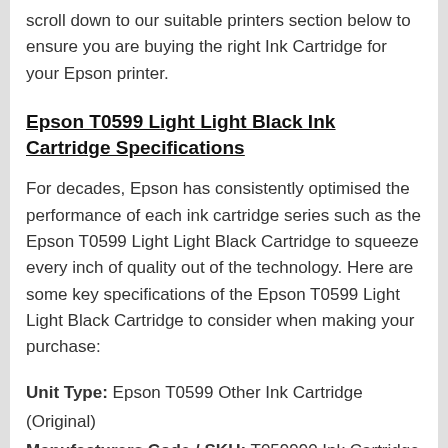scroll down to our suitable printers section below to ensure you are buying the right Ink Cartridge for your Epson printer.
Epson T0599 Light Light Black Ink Cartridge Specifications
For decades, Epson has consistently optimised the performance of each ink cartridge series such as the Epson T0599 Light Light Black Cartridge to squeeze every inch of quality out of the technology. Here are some key specifications of the Epson T0599 Light Light Black Cartridge to consider when making your purchase:
Unit Type: Epson T0599 Other Ink Cartridge (Original)
Manufacturers Code / SKU: T059990 Ink Cartridge
Cartridge Colour: Light Light Black
Page Yield: 450 Pages